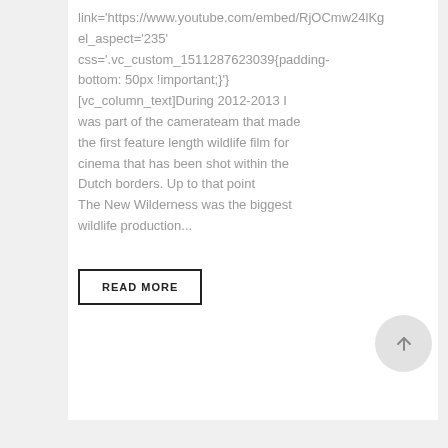link='https://www.youtube.com/embed/RjOCmw24lKg el_aspect='235' css='.vc_custom_1511287623039{padding-bottom: 50px !important;}'] [vc_column_text]During 2012-2013 I was part of the camerateam that made the first feature length wildlife film for cinema that has been shot within the Dutch borders. Up to that point The New Wilderness was the biggest wildlife production...
READ MORE